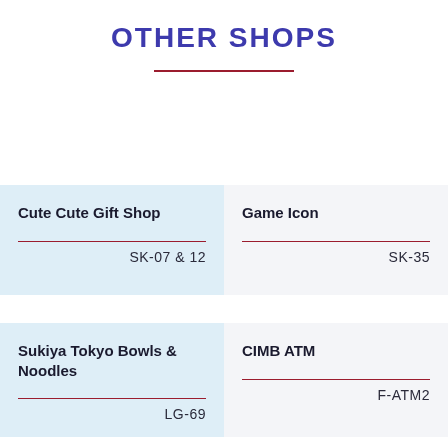OTHER SHOPS
| Shop Name | Location Code |
| --- | --- |
| Cute Cute Gift Shop | SK-07 & 12 |
| Game Icon | SK-35 |
| Sukiya Tokyo Bowls & Noodles | LG-69 |
| CIMB ATM | F-ATM2 |